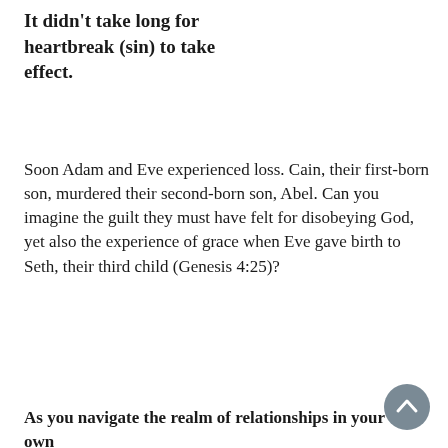It didn't take long for heartbreak (sin) to take effect.
Soon Adam and Eve experienced loss. Cain, their first-born son, murdered their second-born son, Abel. Can you imagine the guilt they must have felt for disobeying God, yet also the experience of grace when Eve gave birth to Seth, their third child (Genesis 4:25)?
As you navigate the realm of relationships in your own